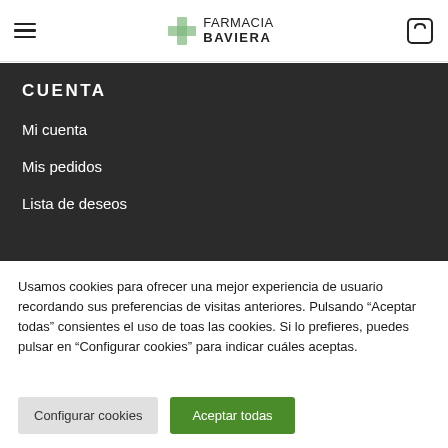Farmacia Baviera
CUENTA
Mi cuenta
Mis pedidos
Lista de deseos
Usamos cookies para ofrecer una mejor experiencia de usuario recordando sus preferencias de visitas anteriores. Pulsando "Aceptar todas" consientes el uso de toas las cookies. Si lo prefieres, puedes pulsar en "Configurar cookies" para indicar cuáles aceptas.
Configurar cookies | Aceptar todas